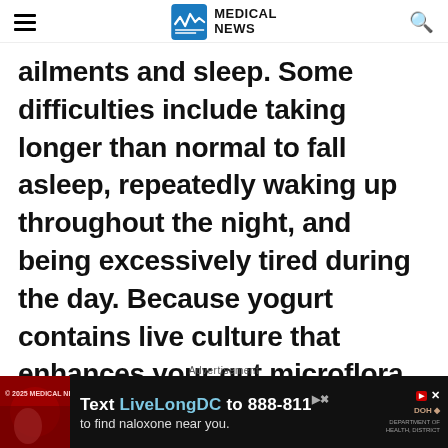MEDICAL NEWS
ailments and sleep. Some difficulties include taking longer than normal to fall asleep, repeatedly waking up throughout the night, and being excessively tired during the day. Because yogurt contains live culture that enhances your gut microflora, it helps to improve symptoms caused by digestive conditions. Yogurt also features a peptide that enhances the
[Figure (other): Advertisement banner: Text LiveLongDC to 888-811 to find naloxone near you. DOH advertisement with red and dark background.]